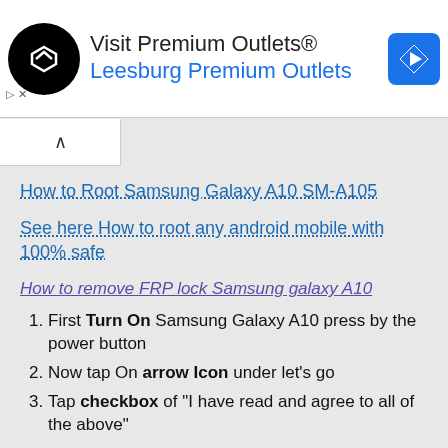[Figure (infographic): Advertisement banner for 'Visit Premium Outlets® Leesburg Premium Outlets' with black circle logo, blue navigation arrow icon, and ad controls.]
How to Root Samsung Galaxy A10 SM-A105
See here How to root any android mobile with 100% safe
How to remove FRP lock Samsung galaxy A10
First Turn On Samsung Galaxy A10 press by the power button
Now tap On arrow Icon under let's go
Tap checkbox of "I have read and agree to all of the above"